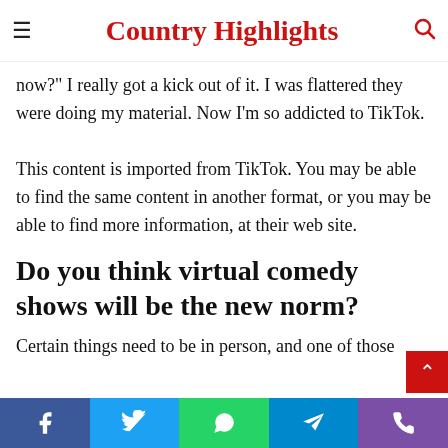Country Highlights
savvy person, and that is desire to join. Then people were doing of my material and I was like, "What is this now?" I really got a kick out of it. I was flattered they were doing my material. Now I'm so addicted to TikTok.
This content is imported from TikTok. You may be able to find the same content in another format, or you may be able to find more information, at their web site.
Do you think virtual comedy shows will be the new norm?
Certain things need to be in person, and one of those